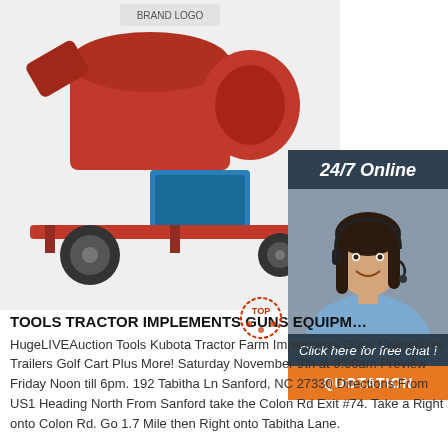[Figure (photo): A red agricultural grain threshing/processing machine on a wheeled trailer with a diesel engine, photographed on a white background.]
[Figure (photo): A smiling woman with dark hair wearing a headset, representing a 24/7 online chat support agent. The image is overlaid on a dark blue-grey box with text '24/7 Online', 'Click here for free chat!', and an orange 'QUOTATION' button.]
TOOLS TRACTOR IMPLEMENTS GUNS EQUIPM…
HugeLIVEAuction Tools Kubota Tractor Farm Implements Guns Collectibles Trailers Golf Cart Plus More! Saturday November 9th at 9:00am Preview Friday Noon till 6pm. 192 Tabitha Ln Sanford, NC 27330 Directions:From US1 Heading North From Sanford take the Colon Rd Exit #74. Take a Right onto Colon Rd. Go 1.7 Mile then Right onto Tabitha Lane.